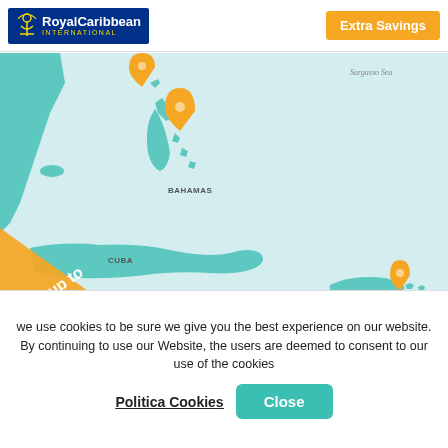[Figure (logo): Royal Caribbean International logo with crown anchor emblem, dark blue background, gold INTERNATIONAL text]
Extra Savings
[Figure (map): Map of the Caribbean region showing Cuba, Bahamas, Haiti, Jamaica, British Virgin Islands, Dominica with teal landmasses on light blue water. Two orange location pins mark the Bahamas and British Virgin Islands. An orange diagonal banner in bottom-left reads 'Save up to 39%'. Labels: Sargasso Sea, Caribbean Sea, Bahamas, Cuba, Haiti, Jamaica, British Virgin Islands, Dominica.]
we use cookies to be sure we give you the best experience on our website. By continuing to use our Website, the users are deemed to consent to our use of the cookies
Politica Cookies
Close